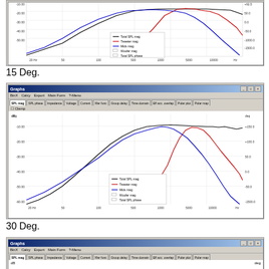[Figure (screenshot): SPL frequency response graph showing Total SPL mag (black), Tweeter mag (red), Mids mag (blue), Woofer mag, and Total SPL phase curves from 20Hz to 100kHz]
15 Deg.
[Figure (screenshot): SPL frequency response graph at 15 degrees showing Total SPL mag (black), Tweeter mag (red), Mids mag (blue), Woofer mag, and Total SPL phase curves]
30 Deg.
[Figure (screenshot): SPL frequency response graph at 30 degrees - partially visible at bottom of page]